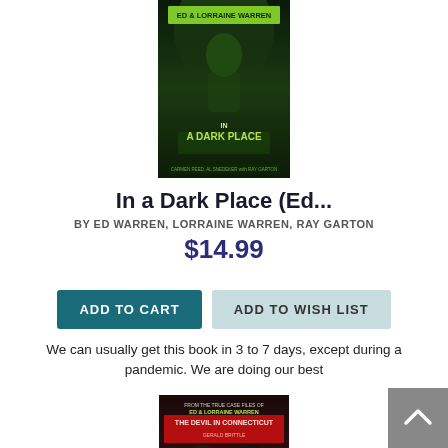[Figure (photo): Book cover for 'In a Dark Place' by Ed & Lorraine Warren, with Carmen Reed and Al Snedeker - dark green atmospheric cover with ghostly figure]
In a Dark Place (Ed...
BY ED WARREN, LORRAINE WARREN, RAY GARTON
$14.99
ADD TO CART
ADD TO WISH LIST
We can usually get this book in 3 to 7 days, except during a pandemic. We are doing our best
[Figure (photo): Book cover for 'The Devil in Connecticut' - From the True Case Files of Ed & Lorraine Warren, movie tie-in cover featuring The Conjuring: The Devil Made Me Do It characters]